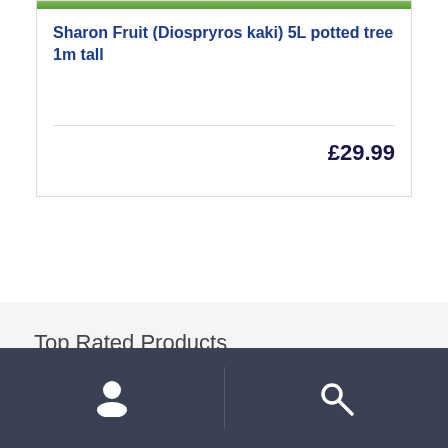[Figure (photo): Product image showing green foliage at top of card]
Sharon Fruit (Diospryros kaki) 5L potted tree 1m tall
£29.99
Top Rated Products
[Figure (infographic): Dark footer navigation bar with user account icon and search icon separated by vertical divider]